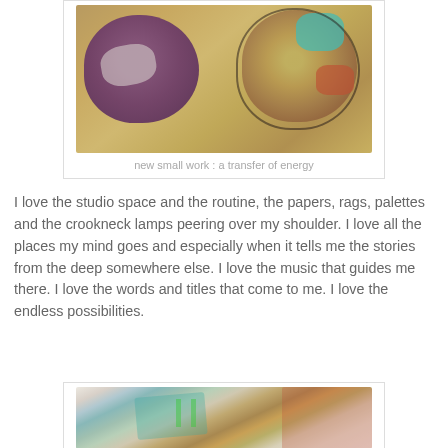[Figure (illustration): Painting of two rounded abstract forms on a golden-brown background, one purple/dark on the left, one with teal and orange patches on the right, suggesting heads or organic shapes.]
new small work : a transfer of energy
I love the studio space and the routine, the papers, rags, palettes and the crookneck lamps peering over my shoulder. I love all the places my mind goes and especially when it tells me the stories from the deep somewhere else. I love the music that guides me there. I love the words and titles that come to me. I love the endless possibilities.
[Figure (photo): Photograph of papers and prints spread on a studio floor with fabric/rags around them, showing a work in progress with teal and golden tones.]